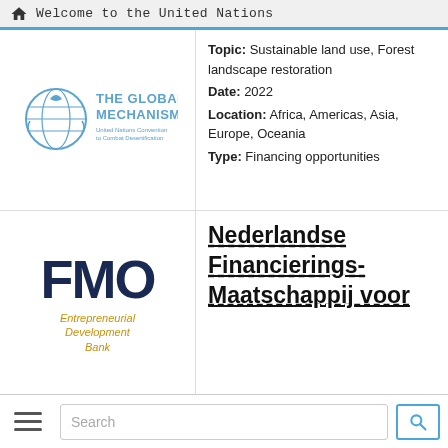Welcome to the United Nations
[Figure (logo): The Global Mechanism - United Nations Convention to Combat Desertification logo]
Topic: Sustainable land use, Forest landscape restoration
Date: 2022
Location: Africa, Americas, Asia, Europe, Oceania
Type: Financing opportunities
[Figure (logo): FMO - Entrepreneurial Development Bank logo]
Nederlandse Financierings-Maatschappij voor
Search